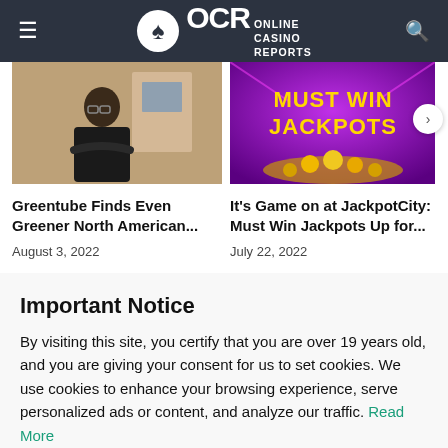OCR Online Casino Reports
[Figure (photo): Man with glasses and crossed arms sitting in an office, wearing a black t-shirt]
Greentube Finds Even Greener North American...
August 3, 2022
[Figure (photo): Must Win Jackpots promotional image with golden coins on a purple background]
It's Game on at JackpotCity: Must Win Jackpots Up for...
July 22, 2022
Important Notice
By visiting this site, you certify that you are over 19 years old, and you are giving your consent for us to set cookies. We use cookies to enhance your browsing experience, serve personalized ads or content, and analyze our traffic. Read More
I Agree